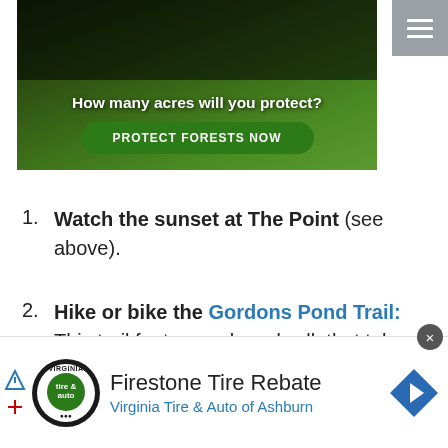[Figure (photo): Advertisement banner showing a primate/monkey in a green forest with text 'How many acres will you protect?' and a green button 'PROTECT FORESTS NOW']
Watch the sunset at The Point (see above).
Hike or bike the Gordons Pond Trail: This trail features a boardwalk that takes you through the incredible marshland landscape of the park.
[Figure (infographic): Advertisement for Firestone Tire Rebate by Virginia Tire & Auto of Ashburn with logo and navigation arrow icon]